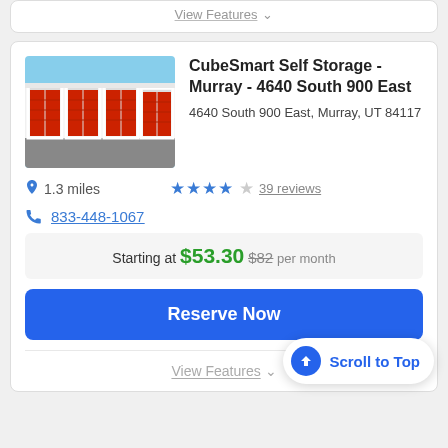View Features ∨
[Figure (photo): Photo of CubeSmart Self Storage facility showing red roll-up garage doors in a row]
CubeSmart Self Storage - Murray - 4640 South 900 East
4640 South 900 East, Murray, UT 84117
1.3 miles
★★★★☆ 39 reviews
833-448-1067
Starting at $53.30  $82  per month
Reserve Now
View Features ∨
⬆ Scroll to Top
Prime Storage - West